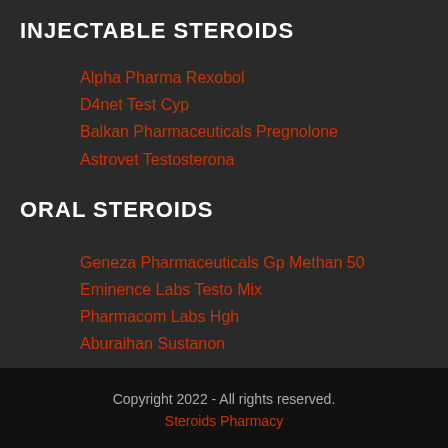INJECTABLE STEROIDS
Alpha Pharma Rexobol
D4net Test Cyp
Balkan Pharmaceuticals Pregnolone
Astrovet Testosterona
ORAL STEROIDS
Geneza Pharmaceuticals Gp Methan 50
Eminence Labs Testo Mix
Pharmacom Labs Hgh
Aburaihan Sustanon
Copyright 2022 - All rights reserved.
Steroids Pharmacy